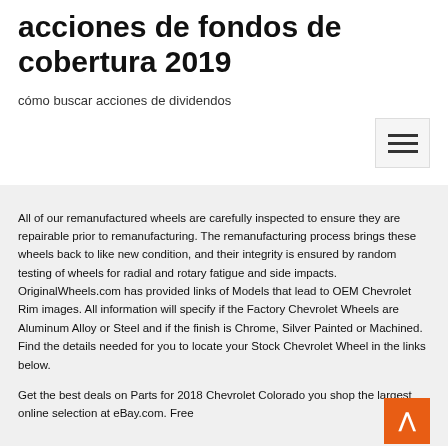acciones de fondos de cobertura 2019
cómo buscar acciones de dividendos
All of our remanufactured wheels are carefully inspected to ensure they are repairable prior to remanufacturing. The remanufacturing process brings these wheels back to like new condition, and their integrity is ensured by random testing of wheels for radial and rotary fatigue and side impacts. OriginalWheels.com has provided links of Models that lead to OEM Chevrolet Rim images. All information will specify if the Factory Chevrolet Wheels are Aluminum Alloy or Steel and if the finish is Chrome, Silver Painted or Machined. Find the details needed for you to locate your Stock Chevrolet Wheel in the links below.
Get the best deals on Parts for 2018 Chevrolet Colorado you shop the largest online selection at eBay.com. Free